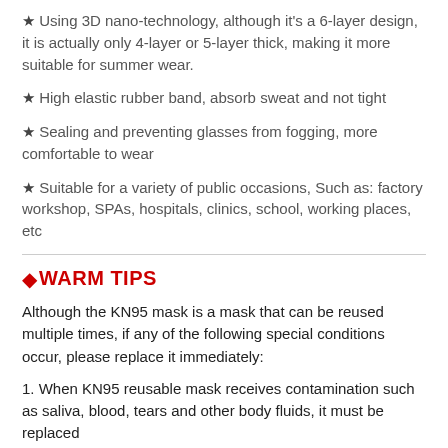★ Using 3D nano-technology, although it's a 6-layer design, it is actually only 4-layer or 5-layer thick, making it more suitable for summer wear.
★ High elastic rubber band, absorb sweat and not tight
★ Sealing and preventing glasses from fogging, more comfortable to wear
★ Suitable for a variety of public occasions, Such as: factory workshop, SPAs, hospitals, clinics, school, working places, etc
◆WARM TIPS
Although the KN95 mask is a mask that can be reused multiple times, if any of the following special conditions occur, please replace it immediately:
1. When KN95 reusable mask receives contamination such as saliva, blood, tears and other body fluids, it must be replaced
2. The user obviously feels that the breathing resistance is